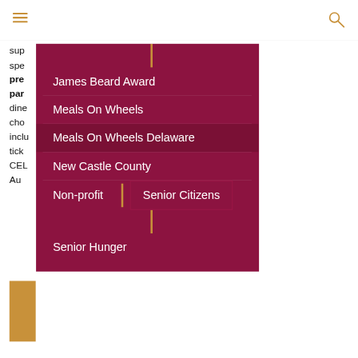[hamburger menu icon] [search icon]
sup... need. Enjoy a spe... rity Chef, pre... oration with par... ants. Guests can dine... staurant of their cho... y Chefs' Celebration inclu... ase tick... rvation. CEL... ON The Virtual Au... 18...
James Beard Award
Meals On Wheels
Meals On Wheels Delaware
New Castle County
Non-profit
Senior Citizens
Senior Hunger